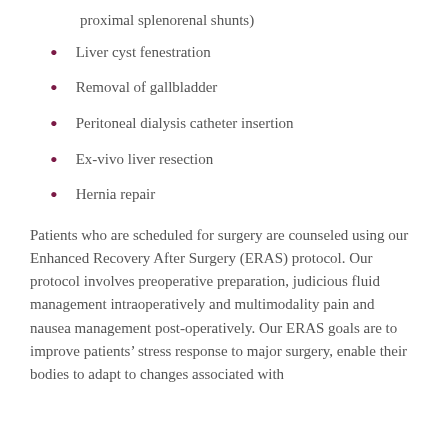proximal splenorenal shunts)
Liver cyst fenestration
Removal of gallbladder
Peritoneal dialysis catheter insertion
Ex-vivo liver resection
Hernia repair
Patients who are scheduled for surgery are counseled using our Enhanced Recovery After Surgery (ERAS) protocol. Our protocol involves preoperative preparation, judicious fluid management intraoperatively and multimodality pain and nausea management post-operatively. Our ERAS goals are to improve patients' stress response to major surgery, enable their bodies to adapt to changes associated with